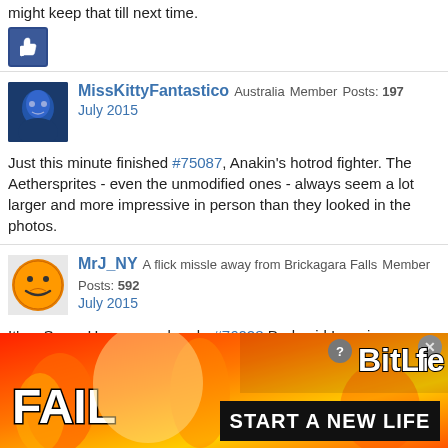might keep that till next time.
[Figure (illustration): Blue thumbs-up like button icon]
MissKittyFantastico  Australia  Member  Posts: 197  July 2015
[Figure (photo): Avatar of MissKittyFantastico - blue-toned face]
Just this minute finished #75087, Anakin's hotrod fighter.  The Aethersprites - even the unmodified ones - always seem a lot larger and more impressive in person than they looked in the photos.
MrJ_NY  A flick missle away from Brickagara Falls  Member  Posts: 592  July 2015
[Figure (illustration): Avatar of MrJ_NY - orange smiley face icon]
It's a Super Heroes weekend -  #76028 Darkseid Invasion - #6860 The Batcave
bendybadger  127.0.0.1 ::1  Member  Posts: 1,141  July 2015
[Figure (illustration): Avatar of bendybadger - badger logo on dark background]
[Figure (illustration): BitLife advertisement banner - FAIL text with START A NEW LIFE]